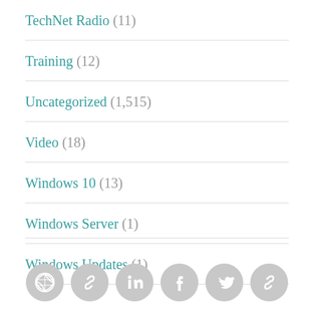TechNet Radio (11)
Training (12)
Uncategorized (1,515)
Video (18)
Windows 10 (13)
Windows Server (1)
Windows Updates (1)
[Figure (other): Social media icon links: WordPress, link, LinkedIn, Facebook, Twitter, link]